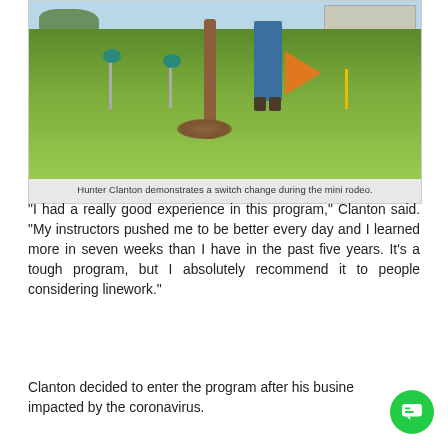[Figure (photo): A person in blue jeans and boots stands in a grassy field holding an orange flag, demonstrating a switch change during a mini rodeo. There are green marker poles in the field and structures visible in the background.]
Hunter Clanton demonstrates a switch change during the mini rodeo.
“I had a really good experience in this program,” Clanton said. “My instructors pushed me to be better every day and I learned more in seven weeks than I have in the past five years. It’s a tough program, but I absolutely recommend it to people considering linework.”
Clanton decided to enter the program after his business was impacted by the coronavirus.